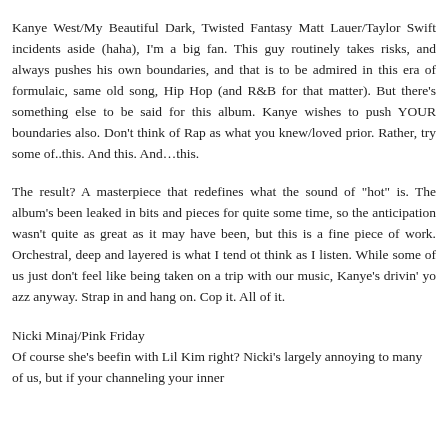Kanye West/My Beautiful Dark, Twisted Fantasy Matt Lauer/Taylor Swift incidents aside (haha), I'm a big fan. This guy routinely takes risks, and always pushes his own boundaries, and that is to be admired in this era of formulaic, same old song, Hip Hop (and R&B for that matter). But there's something else to be said for this album. Kanye wishes to push YOUR boundaries also. Don't think of Rap as what you knew/loved prior. Rather, try some of..this. And this. And…this.
The result? A masterpiece that redefines what the sound of "hot" is. The album's been leaked in bits and pieces for quite some time, so the anticipation wasn't quite as great as it may have been, but this is a fine piece of work. Orchestral, deep and layered is what I tend ot think as I listen. While some of us just don't feel like being taken on a trip with our music, Kanye's drivin' yo azz anyway. Strap in and hang on. Cop it. All of it.
Nicki Minaj/Pink Friday
Of course she's beefin with Lil Kim right? Nicki's largely annoying to many of us, but if your channeling your inner